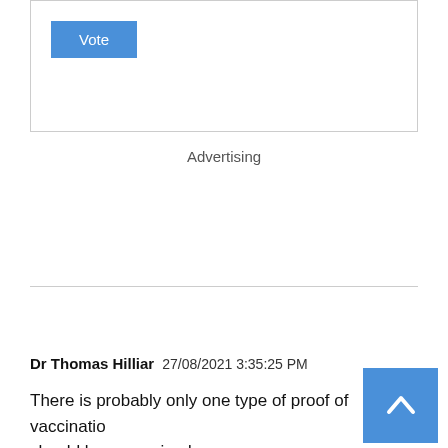[Figure (other): Box with Vote button at top of page]
Advertising
Login to comment
Dr Thomas Hilliar   27/08/2021 3:35:25 PM
There is probably only one type of proof of vaccination should be recognised.
And this isn't one of them.